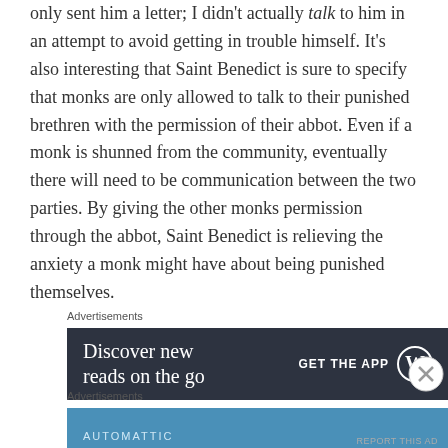only sent him a letter; I didn't actually talk to him in an attempt to avoid getting in trouble himself. It's also interesting that Saint Benedict is sure to specify that monks are only allowed to talk to their punished brethren with the permission of their abbot. Even if a monk is shunned from the community, eventually there will need to be communication between the two parties. By giving the other monks permission through the abbot, Saint Benedict is relieving the anxiety a monk might have about being punished themselves.
Advertisements
[Figure (screenshot): Dark advertisement banner: 'Discover new reads on the go' with 'GET THE APP' button and WordPress logo]
Advertisements
[Figure (screenshot): Blue advertisement banner: 'AUTOMATTIC' label with 'Love working again.' text]